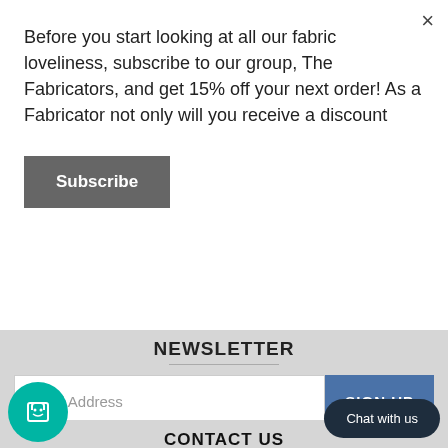Before you start looking at all our fabric loveliness, subscribe to our group, The Fabricators, and get 15% off your next order! As a Fabricator not only will you receive a discount
Subscribe
NEWSLETTER
Email Address
SIGN UP
CONTACT US
If you have any questions regarding the shop or any of our products, please contact
01924 676 329
info@fabricateshop.co.uk
Chat with us